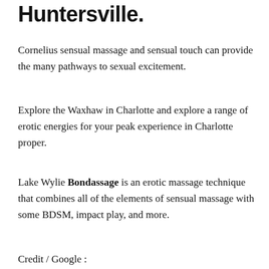Huntersville.
Cornelius sensual massage and sensual touch can provide the many pathways to sexual excitement.
Explore the Waxhaw in Charlotte and explore a range of erotic energies for your peak experience in Charlotte proper.
Lake Wylie Bondassage is an erotic massage technique that combines all of the elements of sensual massage with some BDSM, impact play, and more.
Credit / Google :